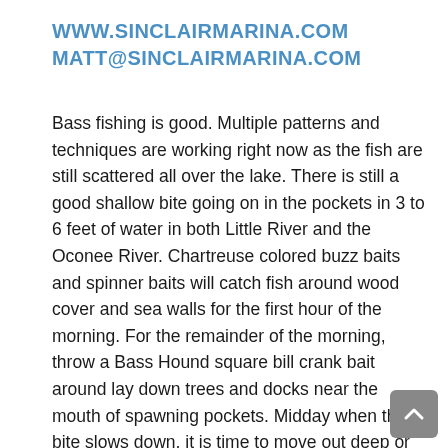WWW.SINCLAIRMARINA.COM
MATT@SINCLAIRMARINA.COM
Bass fishing is good. Multiple patterns and techniques are working right now as the fish are still scattered all over the lake. There is still a good shallow bite going on in the pockets in 3 to 6 feet of water in both Little River and the Oconee River. Chartreuse colored buzz baits and spinner baits will catch fish around wood cover and sea walls for the first hour of the morning. For the remainder of the morning, throw a Bass Hound square bill crank bait around lay down trees and docks near the mouth of spawning pockets. Midday when the bite slows down, it is time to move out deep or skip plastics under shady docks. A 3/16 ounce Buckeye spot remover with a green pumpkin Zoom trick worm has been best for catching fish under the docks. Make sure to get your bait as far under the docks as